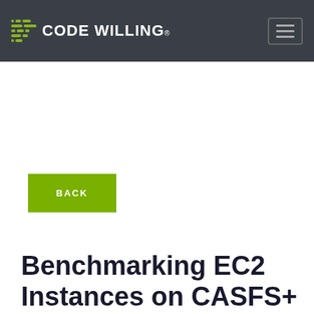CODE WILLING®
BACK
Benchmarking EC2 Instances on CASFS+
September 24th, 2021